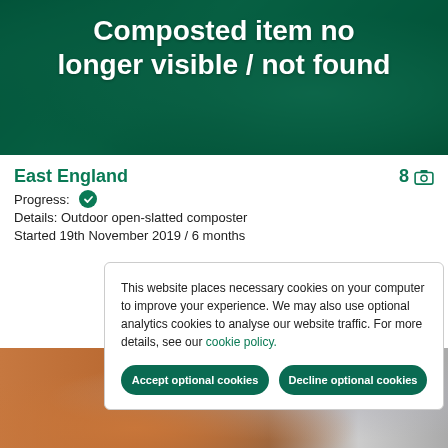[Figure (photo): Green-tinted composting/organic material photo banner with overlaid white bold text reading 'Composted item no longer visible / not found']
Composted item no longer visible / not found
East England
Progress: ✓
Details: Outdoor open-slatted composter
Started 19th November 2019 / 6 months
This website places necessary cookies on your computer to improve your experience. We may also use optional analytics cookies to analyse our website traffic. For more details, see our cookie policy.
[Figure (photo): Partial photo of wooden surface with plastic bags containing composting trial items]